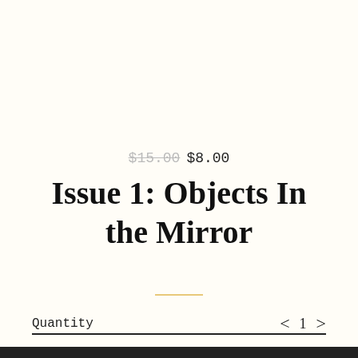$15.00  $8.00
Issue 1: Objects In the Mirror
Quantity  < 1 >